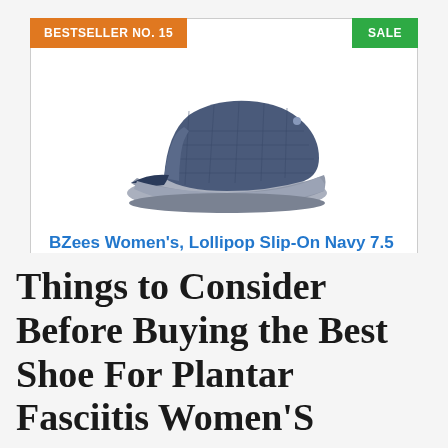BESTSELLER NO. 15
SALE
[Figure (photo): BZees Women's Lollipop Slip-On shoe in Navy, side view showing quilted navy fabric upper and grey sole]
BZees Women's, Lollipop Slip-On Navy 7.5 M
$59.50 Prime
Buy on Amazon
Things to Consider Before Buying the Best Shoe For Plantar Fasciitis Women'S